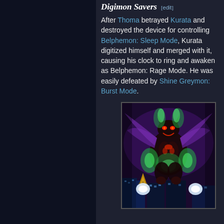Digimon Savers [edit]
After Thoma betrayed Kurata and destroyed the device for controlling Belphemon: Sleep Mode, Kurata digitized himself and merged with it, causing his clock to ring and awaken as Belphemon: Rage Mode. He was easily defeated by Shine Greymon: Burst Mode.
[Figure (illustration): Anime illustration of Belphemon: Rage Mode, a large dark demonic Digimon with purple wings, glowing green energy effects, standing over a city at night.]